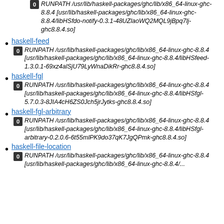(continuation) RUNPATH /usr/lib/haskell-packages/ghc/lib/x86_64-linux-ghc-8.8.4 [usr/lib/haskell-packages/ghc/lib/x86_64-linux-ghc-8.8.4/libHSfdo-notify-0.3.1-48UZlaoWQ2MQL9jBpq7lj-ghc8.8.4.so]
haskell-feed: RUNPATH /usr/lib/haskell-packages/ghc/lib/x86_64-linux-ghc-8.8.4 [usr/lib/haskell-packages/ghc/lib/x86_64-linux-ghc-8.8.4/libHSfeed-1.3.0.1-69xz4alSjU79LyWnaDikRr-ghc8.8.4.so]
haskell-fgl: RUNPATH /usr/lib/haskell-packages/ghc/lib/x86_64-linux-ghc-8.8.4 [usr/lib/haskell-packages/ghc/lib/x86_64-linux-ghc-8.8.4/libHSfgl-5.7.0.3-8JIA4cH6ZS0Jch5jrJytks-ghc8.8.4.so]
haskell-fgl-arbitrary: RUNPATH /usr/lib/haskell-packages/ghc/lib/x86_64-linux-ghc-8.8.4 [usr/lib/haskell-packages/ghc/lib/x86_64-linux-ghc-8.8.4/libHSfgl-arbitrary-0.2.0.6-6t55mlPK9do37qK7JgQPmk-ghc8.8.4.so]
haskell-file-location: RUNPATH /usr/lib/haskell-packages/ghc/lib/x86_64-linux-ghc-8.8.4 [usr/lib/haskell-packages/ghc/lib/x86_64-linux-ghc-8.8.4/...